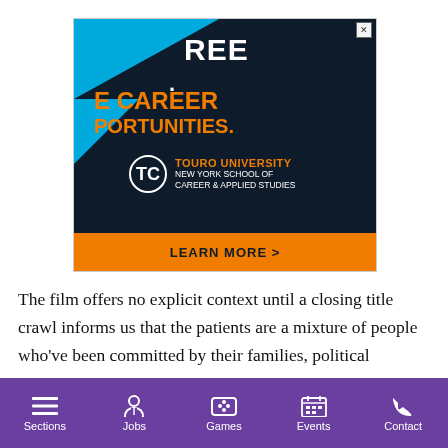[Figure (illustration): Touro University advertisement banner with dark navy background, blue triangles, orange text reading 'E CAREER PORTUNITIES.' and 'REE', Touro University logo with 'NEW YORK SCHOOL OF CAREER & APPLIED STUDIES', and an orange 'LEARN MORE >' button at the bottom.]
The film offers no explicit context until a closing title crawl informs us that the patients are a mixture of people who've been committed by their families, political prisoners...
Sections  Jobs  Games  Events  Contact